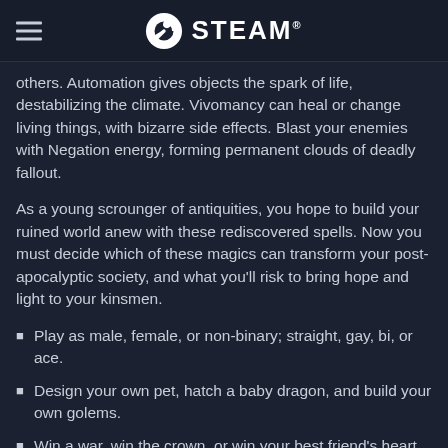STEAM
others. Automation gives objects the spark of life, destabilizing the climate. Vivomancy can heal or change living things, with bizarre side effects. Blast your enemies with Negation energy, forming permanent clouds of deadly fallout.
As a young scrounger of antiquities, you hope to build your ruined world anew with these rediscovered spells. Now you must decide which of these magics can transform your post-apocalyptic society, and what you'll risk to bring hope and light to your kinsmen.
Play as male, female, or non-binary; straight, gay, bi, or ace.
Design your own pet, hatch a baby dragon, and build your own golems.
Win a war, win the crown, or win your best friend's heart.
Transform an evil Inquisitor into a talking tortoise, out for revenge. (Eventually.)